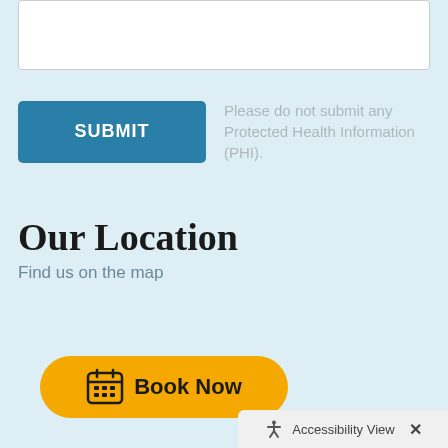[Figure (screenshot): White text input/form field box at top of page]
SUBMIT
Please do not submit any Protected Health Information (PHI).
Our Location
Find us on the map
[Figure (other): Book Now button with calendar icon in gold/yellow pill shape]
Accessibility View